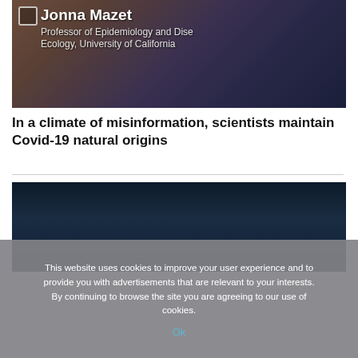[Figure (screenshot): Video thumbnail showing Jonna Mazet with text overlay: 'Jonna Mazet, Professor of Epidemiology and Disease Ecology, University of California' with people in blue patterned clothing in background]
In a climate of misinformation, scientists maintain Covid-19 natural origins
[Figure (screenshot): Dark blue gradient video thumbnail, mostly dark background suggesting a video preview]
This website uses cookies to improve your user experience and to provide you with advertisements that are relevant to your interests. By continuing to browse the site you are agreeing to our use of cookies.
Ok